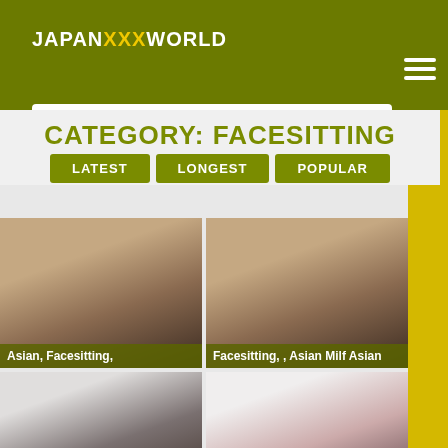JAPANXXXWORLD
Search...
CATEGORY: FACESITTING
LATEST
LONGEST
POPULAR
[Figure (screenshot): Video thumbnail 1 showing facesitting scene, label: Asian, Facesitting,]
[Figure (screenshot): Video thumbnail 2 showing facesitting scene, label: Facesitting, , Asian Milf Asian]
[Figure (screenshot): Video thumbnail 3, lower left]
[Figure (screenshot): Video thumbnail 4, lower right]